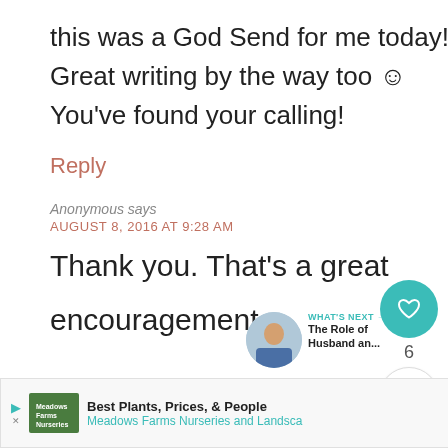this was a God Send for me today!!
Great writing by the way too ☺
You've found your calling!
Reply
Anonymous says
AUGUST 8, 2016 AT 9:28 AM
Thank you. That's a great encouragement.
[Figure (other): Heart/like button (teal circle with heart icon) with count 6, and share button below]
[Figure (other): What's Next widget with thumbnail image and text: 'WHAT'S NEXT → The Role of Husband an...']
[Figure (other): Advertisement banner: Best Plants, Prices, & People - Meadows Farms Nurseries and Landscape, with logo, arrow icon, and close button]